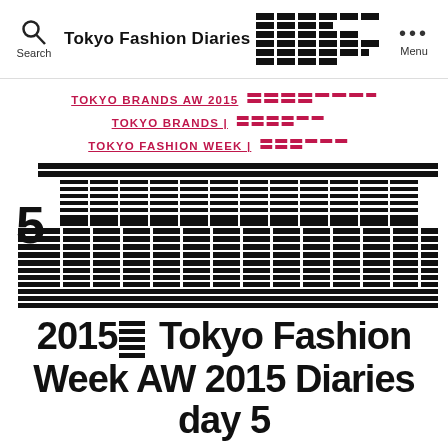Tokyo Fashion Diaries [logo] Search | Menu
TOKYO BRANDS AW 2015 [nav link]
TOKYO BRANDS | [nav link]
TOKYO FASHION WEEK | [nav link]
[Figure (other): Pixel art banner image for Tokyo Fashion Week AW 2015 day 5 article, featuring black pixel bar graphics with the number 5]
2015 Tokyo Fashion Week AW 2015 Diaries day 5